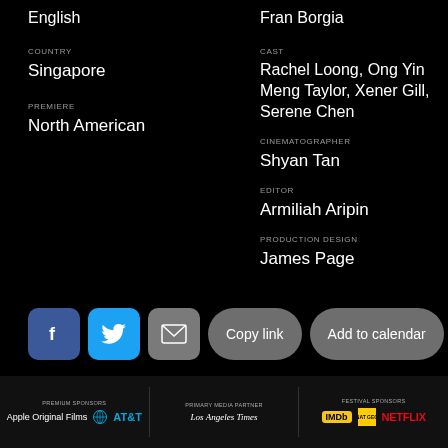English
Fran Borgia
COUNTRY
Singapore
CAST
Rachel Loong, Ong Yin Meng Taylor, Xener Gill, Serene Chen
PREMIERE
North American
CINEMATOGRAPHER
Shyan Tan
EDITOR
Armiliah Aripin
PRODUCTION DESIGN
James Page
[Figure (other): Social sharing buttons: Facebook, Twitter, Email, Copy link, Add to calendar]
[Figure (logo): Sponsor logos: Apple Original Films, AT&T (Premium Sponsors), Los Angeles Times, IMDb (Primary Media Partner), National Geographic, Netflix (Festival Sponsors)]